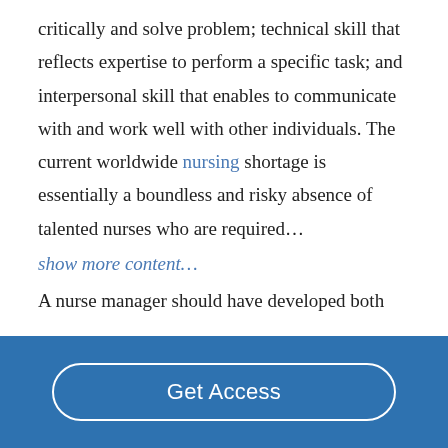critically and solve problem; technical skill that reflects expertise to perform a specific task; and interpersonal skill that enables to communicate with and work well with other individuals. The current worldwide nursing shortage is essentially a boundless and risky absence of talented nurses who are required…
show more content…
A nurse manager should have developed both management and leadership skills so on…
Get Access